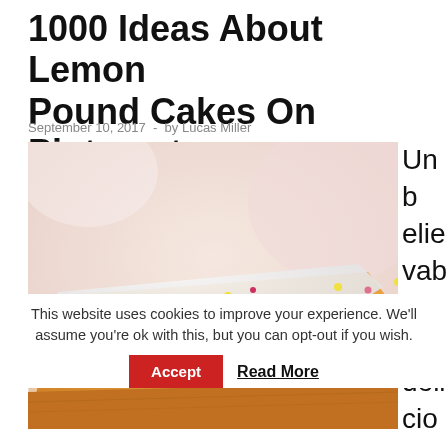1000 Ideas About Lemon Pound Cakes On Pinterest
September 10, 2017  -  by Lucas Miller
[Figure (photo): Close-up photo of a glazed lemon pound cake slice with colorful sprinkles on top, white icing drizzled over golden yellow cake.]
Unbelievably delicious lem
This website uses cookies to improve your experience. We'll assume you're ok with this, but you can opt-out if you wish.
Accept   Read More